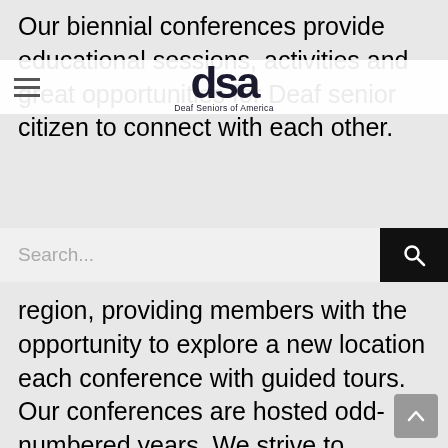Our biennial conferences provide educational sessions, activities and great opportunities for Deaf senior citizen to connect with each other.
[Figure (logo): Deaf Seniors of America logo with 'dsa' letters and tagline 'Deaf Seniors of America']
region, providing members with the opportunity to explore a new location each conference with guided tours. Our conferences are hosted odd-numbered years. We strive to provide an optimal, interactive environment for deaf senior citizens where full access is given for all.
We welcome everyone and value inclusiveness. Join us and our community at our next conference!